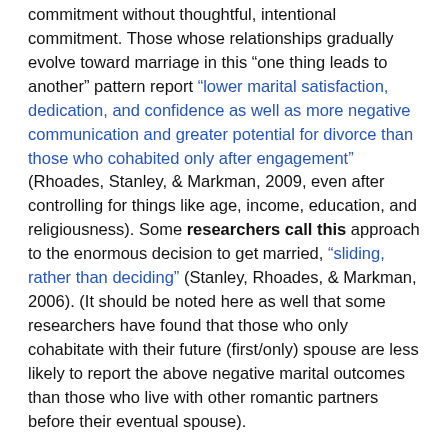commitment without thoughtful, intentional commitment. Those whose relationships gradually evolve toward marriage in this "one thing leads to another" pattern report "lower marital satisfaction, dedication, and confidence as well as more negative communication and greater potential for divorce than those who cohabited only after engagement" (Rhoades, Stanley, & Markman, 2009, even after controlling for things like age, income, education, and religiousness). Some researchers call this approach to the enormous decision to get married, "sliding, rather than deciding" (Stanley, Rhoades, & Markman, 2006). (It should be noted here as well that some researchers have found that those who only cohabitate with their future (first/only) spouse are less likely to report the above negative marital outcomes than those who live with other romantic partners before their eventual spouse).
Marriage Changes Everything
Or at least it should. This is a decision that should not be taken